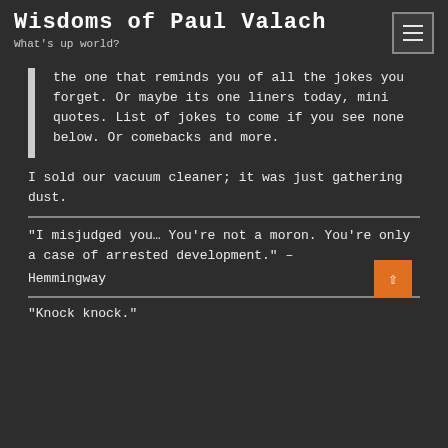Wisdoms of Paul Valach
What's up world?
the one that reminds you of all the jokes you forget. Or maybe its one liners today, mini quotes. List of jokes to come if you see none below. Or comebacks and more.
I sold our vacuum cleaner; it was just gathering dust.
“I misjudged you… You’re not a moron. You’re only a case of arrested development.” –
Hemmingway
“Knock knock.”